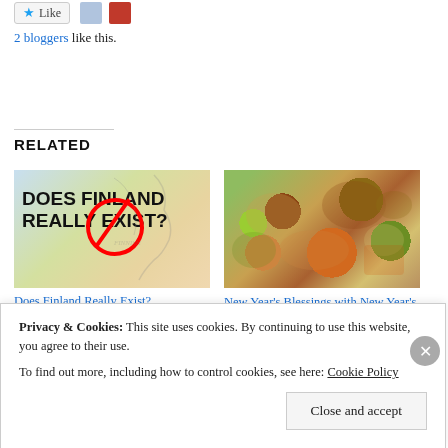[Figure (other): Like button with star icon and two avatar thumbnails]
2 bloggers like this.
RELATED
[Figure (photo): Map image with text 'DOES FINLAND REALLY EXIST?' and a red circle with strikethrough]
Does Finland Really Exist?
August 10, 2019
[Figure (photo): Photo of various Asian food dishes spread on a table]
New Year’s Blessings with New Year’s Food
Privacy & Cookies: This site uses cookies. By continuing to use this website, you agree to their use.
To find out more, including how to control cookies, see here: Cookie Policy
Close and accept